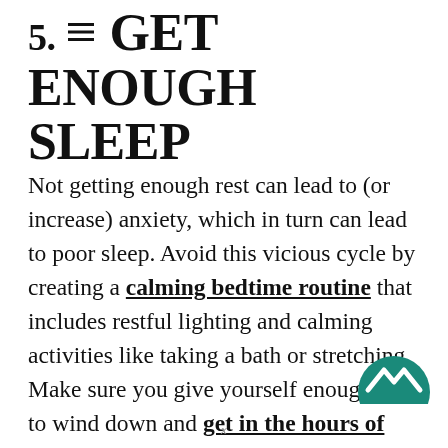5. GET ENOUGH SLEEP
Not getting enough rest can lead to (or increase) anxiety, which in turn can lead to poor sleep. Avoid this vicious cycle by creating a calming bedtime routine that includes restful lighting and calming activities like taking a bath or stretching. Make sure you give yourself enough time to wind down and get in the hours of sleep you need to be calm and productive the next morning.
[Figure (logo): Teal/dark green circular logo with a stylized mountain/house chevron icon, partially visible at bottom right corner]